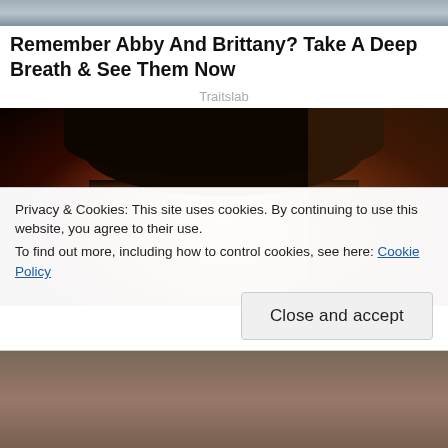[Figure (photo): Top portion of a photo showing two people, partially cropped]
Remember Abby And Brittany? Take A Deep Breath & See Them Now
Traitslab
[Figure (photo): Close-up photo of an Asian woman with a dark bowl cut hairstyle, smiling, against a dark background]
Privacy & Cookies: This site uses cookies. By continuing to use this website, you agree to their use.
To find out more, including how to control cookies, see here: Cookie Policy
Close and accept
[Figure (photo): Bottom strip of another photo, partially visible]